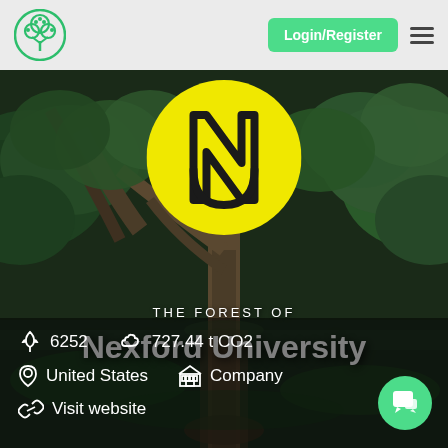Login/Register
[Figure (photo): Forest background with trees and water reflection. Yellow circle logo with stylized N in center. Text overlay: THE FOREST OF Nexford University. Info bar showing: 6252 trees, 727.44 t CO2, United States, Company, Visit website.]
THE FOREST OF
Nexford University
6252
727.44 t CO2
United States
Company
Visit website